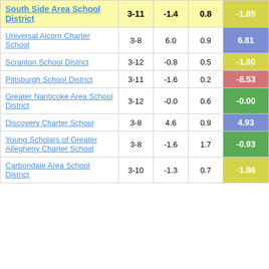| School/District | Grades | Col3 | Col4 | Score |
| --- | --- | --- | --- | --- |
| South Side Area School District | 3-11 | -1.4 | 0.8 | -1.85 |
| Universal Alcorn Charter School | 3-8 | 6.0 | 0.9 | 6.81 |
| Scranton School District | 3-12 | -0.8 | 0.5 | -1.60 |
| Pittsburgh School District | 3-11 | -1.6 | 0.2 | -8.53 |
| Greater Nanticoke Area School District | 3-12 | -0.0 | 0.6 | -0.00 |
| Discovery Charter School | 3-8 | 4.6 | 0.9 | 4.93 |
| Young Scholars of Greater Allegheny Charter School | 3-8 | -1.6 | 1.7 | -0.93 |
| Carbondale Area School District | 3-10 | -1.3 | 0.7 | -1.86 |